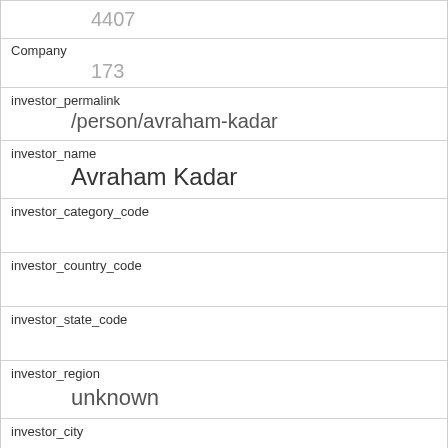4407
Company
173
investor_permalink
/person/avraham-kadar
investor_name
Avraham Kadar
investor_category_code
investor_country_code
investor_state_code
investor_region
unknown
investor_city
funding_round_type
venture
funded_at